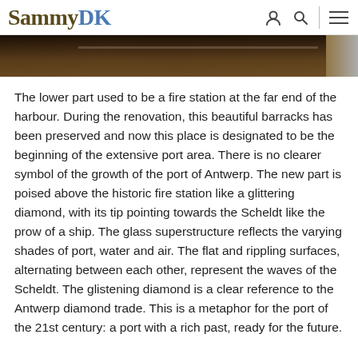SammyDK
[Figure (photo): Partial bottom edge of a dark photograph, appears to show a harbour or industrial setting with dark tones]
The lower part used to be a fire station at the far end of the harbour. During the renovation, this beautiful barracks has been preserved and now this place is designated to be the beginning of the extensive port area. There is no clearer symbol of the growth of the port of Antwerp. The new part is poised above the historic fire station like a glittering diamond, with its tip pointing towards the Scheldt like the prow of a ship. The glass superstructure reflects the varying shades of port, water and air. The flat and rippling surfaces, alternating between each other, represent the waves of the Scheldt. The glistening diamond is a clear reference to the Antwerp diamond trade. This is a metaphor for the port of the 21st century: a port with a rich past, ready for the future.